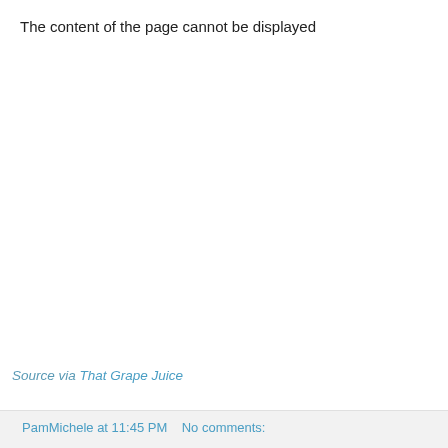The content of the page cannot be displayed
Source via That Grape Juice
PamMichele at 11:45 PM   No comments: